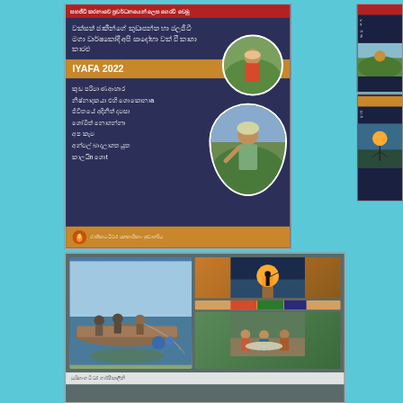[Figure (illustration): IYAFA 2022 poster in Sinhala language on dark navy background with red top bar, orange IYAFA 2022 banner, circular photos of farmers/fisherfolk, and NAFSO logo footer]
[Figure (illustration): Partial right-side poster showing Sinhala text on dark background with green nature imagery]
[Figure (illustration): Partial right-side card with Sinhala text and nature/agricultural imagery]
[Figure (photo): Bottom poster showing fishing community photos - fishermen on boat with nets on left, sunset fisherman silhouette top right, fisherwomen sorting catch bottom right]
සුඛිතාංශ ධීවර ශාර්ෂීකාලීනි